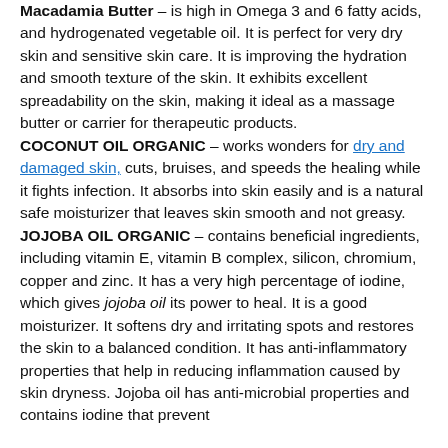Macadamia Butter – is high in Omega 3 and 6 fatty acids, and hydrogenated vegetable oil. It is perfect for very dry skin and sensitive skin care. It is improving the hydration and smooth texture of the skin. It exhibits excellent spreadability on the skin, making it ideal as a massage butter or carrier for therapeutic products.
COCONUT OIL ORGANIC – works wonders for dry and damaged skin, cuts, bruises, and speeds the healing while it fights infection. It absorbs into skin easily and is a natural safe moisturizer that leaves skin smooth and not greasy.
JOJOBA OIL ORGANIC – contains beneficial ingredients, including vitamin E, vitamin B complex, silicon, chromium, copper and zinc. It has a very high percentage of iodine, which gives jojoba oil its power to heal. It is a good moisturizer. It softens dry and irritating spots and restores the skin to a balanced condition. It has anti-inflammatory properties that help in reducing inflammation caused by skin dryness. Jojoba oil has anti-microbial properties and contains iodine that prevent